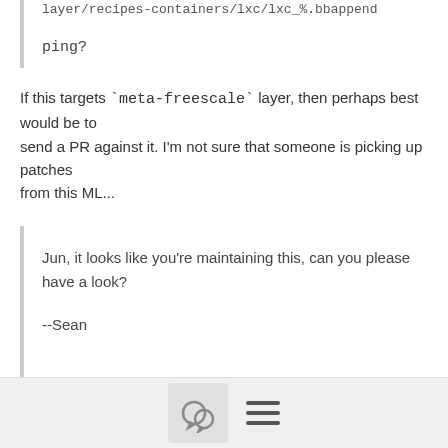layer/recipes-containers/lxc/lxc_%.bbappend
ping?
If this targets `meta-freescale` layer, then perhaps best would be to
send a PR against it. I'm not sure that someone is picking up patches
from this ML...
Jun, it looks like you're maintaining this, can you please have a look?

--Sean